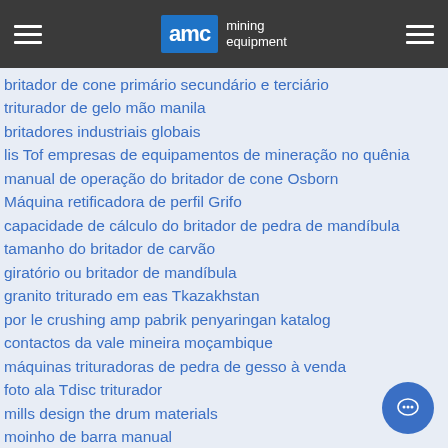AMC mining equipment
britador de cone primário secundário e terciário
triturador de gelo mão manila
britadores industriais globais
lis Tof empresas de equipamentos de mineração no quênia
manual de operação do britador de cone Osborn
Máquina retificadora de perfil Grifo
capacidade de cálculo do britador de pedra de mandíbula
tamanho do britador de carvão
giratório ou britador de mandíbula
granito triturado em eas Tkazakhstan
por le crushing amp pabrik penyaringan katalog
contactos da vale mineira moçambique
máquinas trituradoras de pedra de gesso à venda
foto ala Tdisc triturador
mills design the drum materials
moinho de barra manual